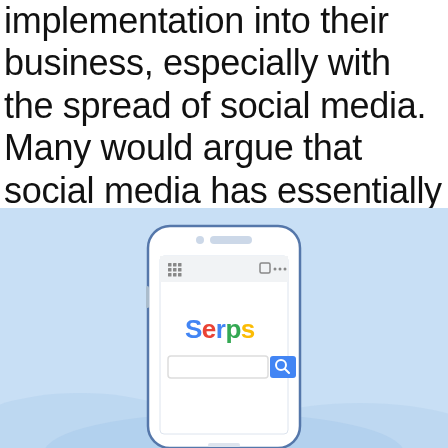implementation into their business, especially with the spread of social media. Many would argue that social media has essentially seen the death of SEO necessity (ignoring the fact that social media relies on SEO itself).
[Figure (illustration): Illustration of a smartphone showing a search engine interface labeled 'Serps' with a search bar and magnifying glass icon, set against a light blue background with soft cloud/hill shapes.]